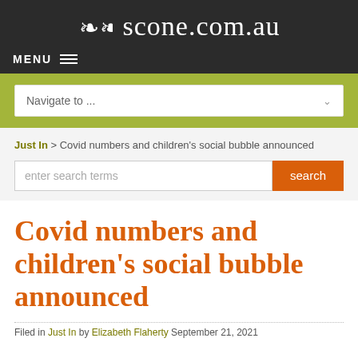❧❧ scone.com.au
MENU ≡
Navigate to ...
Just In > Covid numbers and children's social bubble announced
enter search terms  search
Covid numbers and children's social bubble announced
Filed in Just In by Elizabeth Flaherty September 21, 2021